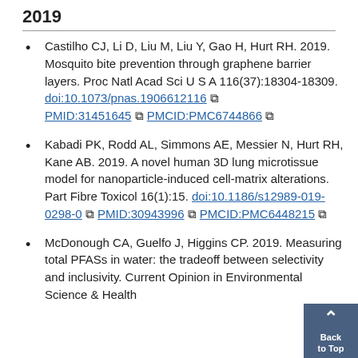2019
Castilho CJ, Li D, Liu M, Liu Y, Gao H, Hurt RH. 2019. Mosquito bite prevention through graphene barrier layers. Proc Natl Acad Sci U S A 116(37):18304-18309. doi:10.1073/pnas.1906612116 PMID:31451645 PMCID:PMC6744866
Kabadi PK, Rodd AL, Simmons AE, Messier N, Hurt RH, Kane AB. 2019. A novel human 3D lung microtissue model for nanoparticle-induced cell-matrix alterations. Part Fibre Toxicol 16(1):15. doi:10.1186/s12989-019-0298-0 PMID:30943996 PMCID:PMC6448215
McDonough CA, Guelfo J, Higgins CP. 2019. Measuring total PFASs in water: the tradeoff between selectivity and inclusivity. Current Opinion in Environmental Science & Health